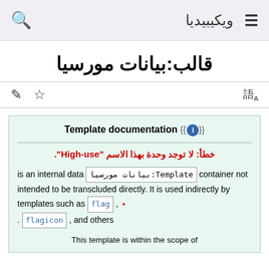ويكيبيديا
قالب:بيانات مورسيا
Template documentation {{i}}
خطأ: لا توجد وحدة بهذا الاسم "High-use".
is an internal data Template:بيانات مورسيا container not intended to be transcluded directly. It is used indirectly by templates such as flag , . flagicon , and others
This template is within the scope of